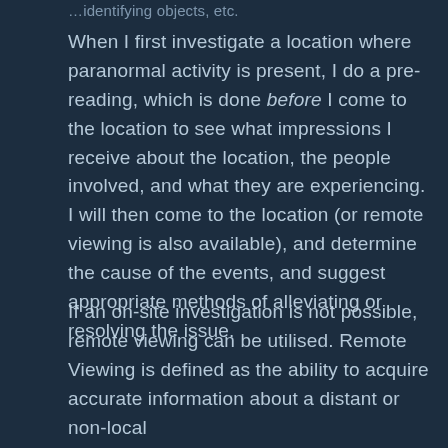…identifying objects, etc.
When I first investigate a location where paranormal activity is present, I do a pre-reading, which is done before I come to the location to see what impressions I receive about the location, the people involved, and what they are experiencing. I will then come to the location (or remote viewing is also available), and determine the cause of the events, and suggest appropriate methods of alleviating or resolving the issue.
If an on-site investigation is not possible, remote viewing can be utilised. Remote Viewing is defined as the ability to acquire accurate information about a distant or non-local